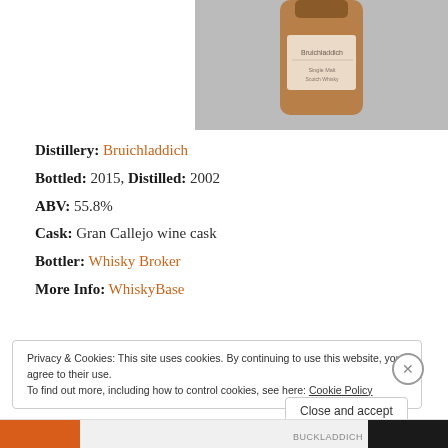[Figure (photo): Photo of a whisky bottle (back label visible), amber-colored liquid, on a grey surface]
Distillery: Bruichladdich
Bottled: 2015, Distilled: 2002
ABV: 55.8%
Cask: Gran Callejo wine cask
Bottler: Whisky Broker
More Info: WhiskyBase
Privacy & Cookies: This site uses cookies. By continuing to use this website, you agree to their use. To find out more, including how to control cookies, see here: Cookie Policy
Close and accept